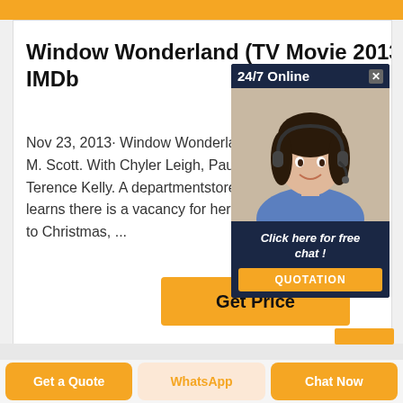Window Wonderland (TV Movie 2013) IMDb
Nov 23, 2013· Window Wonderland: Directed by M. Scott. With Chyler Leigh, Paul Campbell, Terence Kelly. A department store window learns there is a vacancy for her dream job to Christmas, ...
[Figure (photo): Advertisement popup with '24/7 Online' header, a woman with headset, and 'Click here for free chat!' with QUOTATION button]
Get Price
[Figure (other): Small orange rectangle]
Get a Quote
WhatsApp
Chat Now